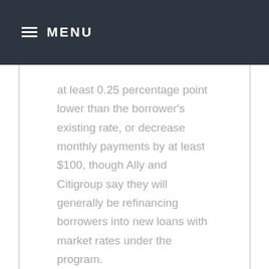MENU
at least 0.25 percentage point lower than the borrower's existing rate, or decrease monthly payments by at least $100, though Ally and Citigroup say they will generally be refinancing borrowers into new loans with market rates under the program.
[Figure (photo): A blurred photograph showing a person's hand, possibly holding or signing a document, with a light blue background suggesting a professional financial or business context.]